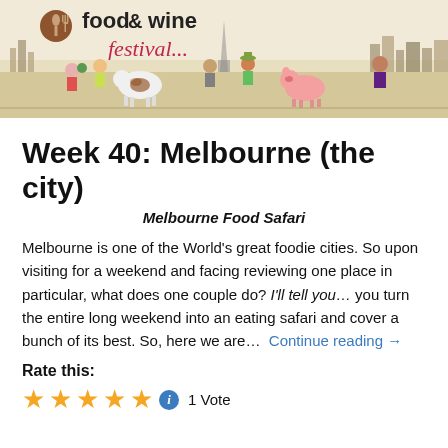[Figure (illustration): Food and Wine Festival banner with illustrated characters and animals, featuring the text 'food & wine festival...' with a decorative icon.]
Week 40: Melbourne (the city)
Melbourne Food Safari
Melbourne is one of the World’s great foodie cities. So upon visiting for a weekend and facing reviewing one place in particular, what does one couple do? I’ll tell you… you turn the entire long weekend into an eating safari and cover a bunch of its best. So, here we are…  Continue reading →
Rate this:
★★★★★ ⓘ 1 Vote